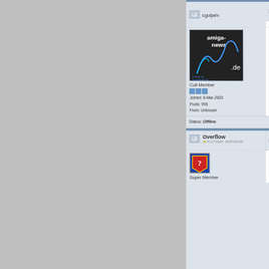cgutjahr
Re: Trevor's Amiga Blog
Posted on 12-Oct-2014 17:58:05
[ #450 ]
[Figure (illustration): amiga-news.de avatar logo with stylized blue graph lines on dark background]
Cult Member
Joined: 8-Mar-2003
Posts: 956
From: Unknown
@Spectre660

I've been making jokes about this for years, but now the man himself actually calls his product "AMIGA one"... Also note the screenshot of the X5000 boot screen - what's next? Still printing the latter half of the name ("one"), but in black ink on a black background?

This is ridiculous, sorry.
Status: Offline
PROFILE
REPORT
Overflow
PLATINUM SUPPORTER
Re: Trevor's Amiga Blog
Posted on 12-Oct-2014 18:13:41
[ #451 ]
[Figure (illustration): Super Member avatar with colorful shield/question mark design]
Super Member
@cgutjahr

Names aside; isnt providing